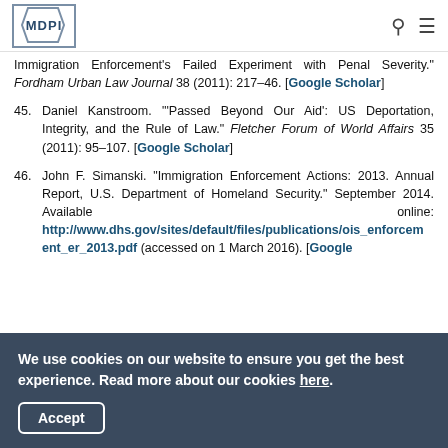MDPI
Immigration Enforcement's Failed Experiment with Penal Severity." Fordham Urban Law Journal 38 (2011): 217–46. [Google Scholar]
45. Daniel Kanstroom. "'Passed Beyond Our Aid': US Deportation, Integrity, and the Rule of Law." Fletcher Forum of World Affairs 35 (2011): 95–107. [Google Scholar]
46. John F. Simanski. "Immigration Enforcement Actions: 2013. Annual Report, U.S. Department of Homeland Security." September 2014. Available online: http://www.dhs.gov/sites/default/files/publications/ois_enforcement_er_2013.pdf (accessed on 1 March 2016). [Google Scholar]
We use cookies on our website to ensure you get the best experience. Read more about our cookies here.